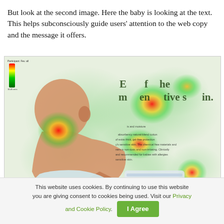But look at the second image. Here the baby is looking at the text. This helps subconsciously guide users' attention to the web copy and the message it offers.
[Figure (photo): Heatmap eye-tracking image showing a baby looking toward text on the right side. The heatmap shows red/yellow hot spots near the baby's head (turned toward text) and on the text area of the advertisement. A green/red legend is visible in the top-left corner. The background is a baby product advertisement.]
This website uses cookies. By continuing to use this website you are giving consent to cookies being used. Visit our Privacy and Cookie Policy. I Agree